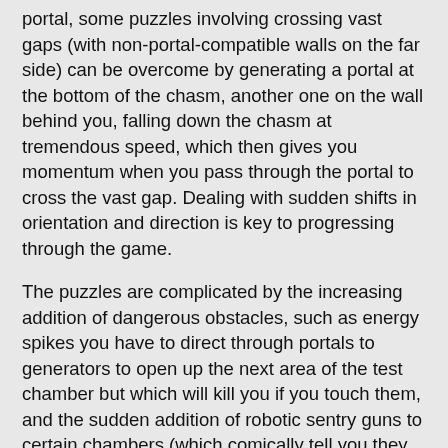portal, some puzzles involving crossing vast gaps (with non-portal-compatible walls on the far side) can be overcome by generating a portal at the bottom of the chasm, another one on the wall behind you, falling down the chasm at tremendous speed, which then gives you momentum when you pass through the portal to cross the vast gap. Dealing with sudden shifts in orientation and direction is key to progressing through the game.
The puzzles are complicated by the increasing addition of dangerous obstacles, such as energy spikes you have to direct through portals to generators to open up the next area of the test chamber but which will kill you if you touch them, and the sudden addition of robotic sentry guns to certain chambers (which comically tell you they hold no ill wishes when you inevitably destroy them). You also have some help in the shape of the 'weighted companion cube' or 'box' which you can use to press switches, bat aside energy spikes or deflect sentry gun bullets. For a non-sentient inanimate object, the companion cube soon becomes a trusted ally in the game and the puzzle which requires you to 'euthanise' one of them is strangely disturbing.